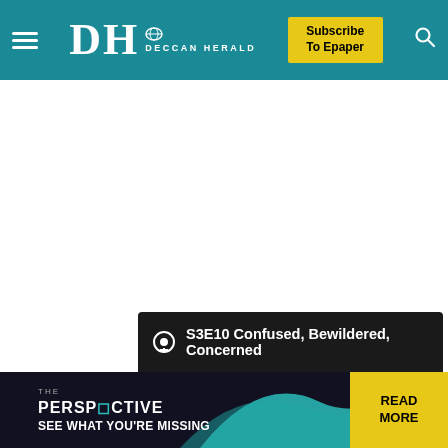DH DECCAN HERALD — Subscribe To Epaper
[Figure (screenshot): Podcast card on dark background showing: podcast icon, title 'S3E10 Confused, Bewildered, Concerned', and description text 'It's the beginning of two brand new shows for the Snack Pack to digest! This week, Alana & Shay discuss Netflix's']
[Figure (infographic): Perspective banner ad: THE PERSPECTIVE — SEE WHAT YOU'RE MISSING — READ MORE button in yellow]